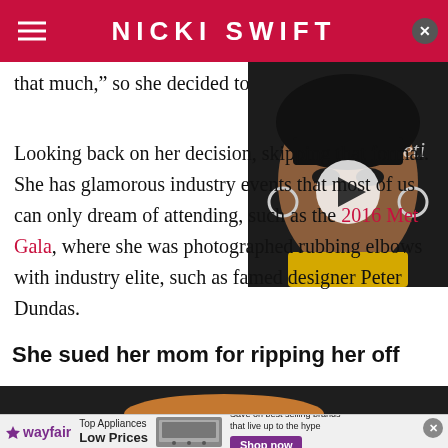NICKI SWIFT
that much," so she decided to
[Figure (photo): Portrait of a woman with short dark hair and large hoop earrings wearing yellow, with a video play button overlay]
Looking back on her decision, skipping that formal. She has glamorous industry events that most of us can only dream of attending, such as the 2016 Met Gala, where she was photographed rubbing elbows with industry elite, such as famed designer Peter Dundas.
She sued her mom for ripping her off
[Figure (photo): Partial image of a person's head at the bottom of the article]
[Figure (screenshot): Wayfair advertisement banner: Top Appliances Low Prices, Save on best selling brands that live up to the hype, Shop now button]